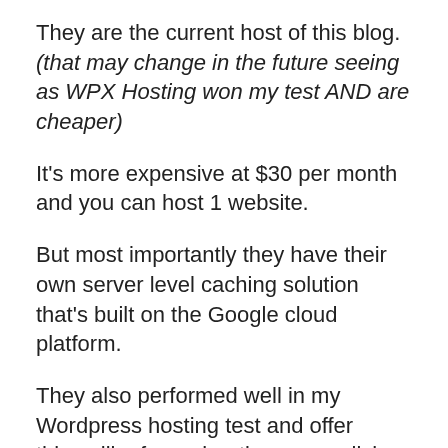They are the current host of this blog. (that may change in the future seeing as WPX Hosting won my test AND are cheaper)
It's more expensive at $30 per month and you can host 1 website.
But most importantly they have their own server level caching solution that's built on the Google cloud platform.
They also performed well in my Wordpress hosting test and offer things like free migrations, one click backups, a staging site, free SSL AND free CDN!
The support is top notch as well! I am constantly